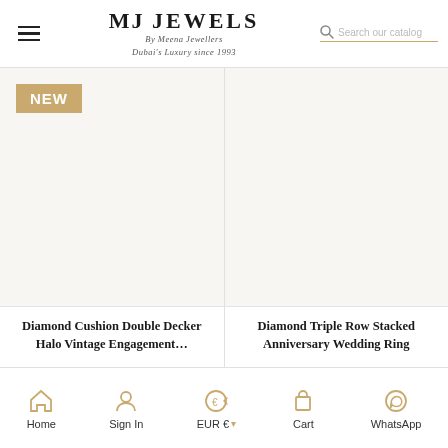MJ Jewels — By Meena Jewellers — Dubai's Luxury since 1993
[Figure (screenshot): NEW badge label on product listing]
[Figure (photo): Product image area for Diamond Cushion Double Decker Halo Vintage Engagement Ring (blank/no image visible)]
Diamond Cushion Double Decker Halo Vintage Engagement…
[Figure (photo): Product image area for Diamond Triple Row Stacked Anniversary Wedding Ring (blank/no image visible)]
Diamond Triple Row Stacked Anniversary Wedding Ring
Home | Sign In | EUR € | Cart | WhatsApp